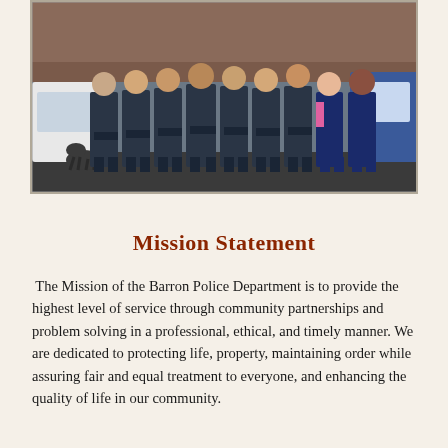[Figure (photo): Group photo of Barron Police Department officers and staff standing in a row outdoors, including a K9 dog on the left side. Officers are in uniform, a few civilians in dark blue shirts on the right.]
Mission Statement
The Mission of the Barron Police Department is to provide the highest level of service through community partnerships and problem solving in a professional, ethical, and timely manner. We are dedicated to protecting life, property, maintaining order while assuring fair and equal treatment to everyone, and enhancing the quality of life in our community.